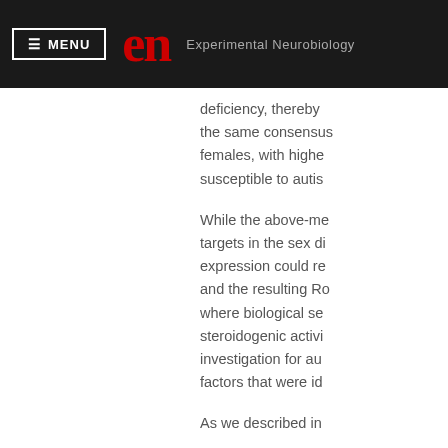≡ MENU  en  Experimental Neurobiology
deficiency, thereby the same consensus females, with highe susceptible to autis
While the above-me targets in the sex di expression could re and the resulting Ro where biological se steroidogenic activi investigation for au factors that were id
As we described in